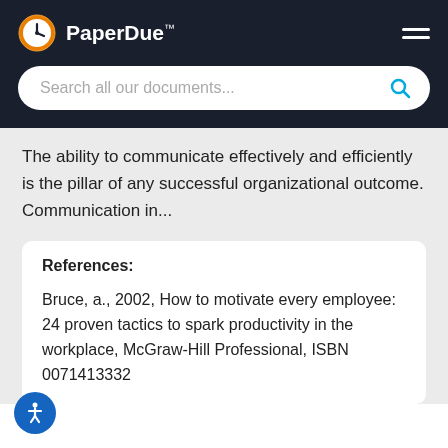[Figure (logo): PaperDue logo with clock icon and hamburger menu on dark navy header, with a search bar below]
The ability to communicate effectively and efficiently is the pillar of any successful organizational outcome. Communication in...
References:
Bruce, a., 2002, How to motivate every employee: 24 proven tactics to spark productivity in the workplace, McGraw-Hill Professional, ISBN 0071413332